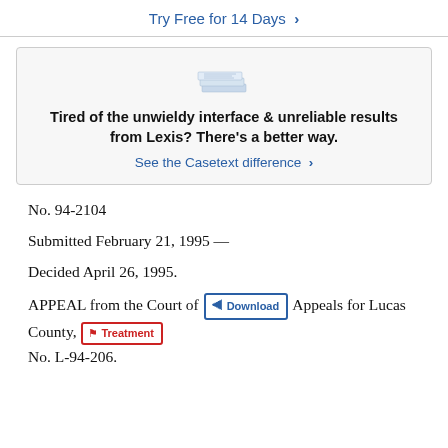Try Free for 14 Days >
[Figure (illustration): Stacked documents icon above advertisement box]
Tired of the unwieldy interface & unreliable results from Lexis? There's a better way. See the Casetext difference >
No. 94-2104
Submitted February 21, 1995 —
Decided April 26, 1995.
APPEAL from the Court of Appeals for Lucas County, No. L-94-206.